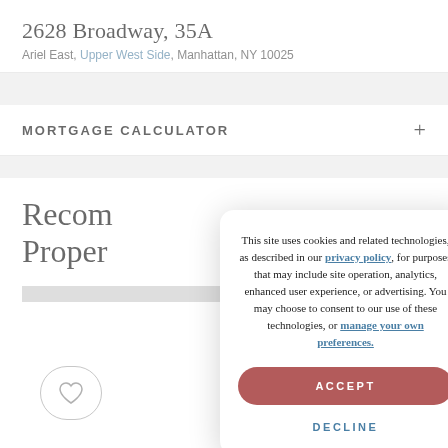2628 Broadway, 35A
Ariel East, Upper West Side, Manhattan, NY 10025
MORTGAGE CALCULATOR
Recom
Proper
[Figure (screenshot): Cookie consent modal dialog with text: 'This site uses cookies and related technologies, as described in our privacy policy, for purposes that may include site operation, analytics, enhanced user experience, or advertising. You may choose to consent to our use of these technologies, or manage your own preferences.' With ACCEPT button and DECLINE button.]